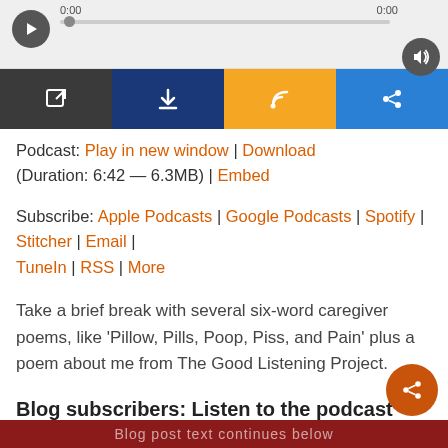[Figure (screenshot): Audio player widget with play button, progress bar at 0:00, volume button, and four colored action buttons (dark/open, navy/download, orange/RSS, blue/share)]
Podcast: Play in new window | Download (Duration: 6:42 — 6.3MB) | Embed
Subscribe: Apple Podcasts | Google Podcasts | Spotify | Stitcher | Email | TuneIn | RSS | More
Take a brief break with several six-word caregiver poems, like 'Pillow, Pills, Poop, Piss, and Pain' plus a poem about me from The Good Listening Project.
Blog subscribers: Listen to the podcast here. Scroll down through show notes to read the post.
Blog post text continues below